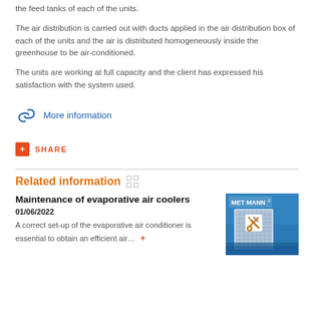the feed tanks of each of the units.
The air distribution is carried out with ducts applied in the air distribution box of each of the units and the air is distributed homogeneously inside the greenhouse to be air-conditioned.
The units are working at full capacity and the client has expressed his satisfaction with the system used.
More information
SHARE
Related information
Maintenance of evaporative air coolers
01/06/2022
A correct set-up of the evaporative air conditioner is essential to obtain an efficient air…
[Figure (photo): MET MANN branded evaporative air cooler unit on blue sky background with a maintenance/tools icon overlay]